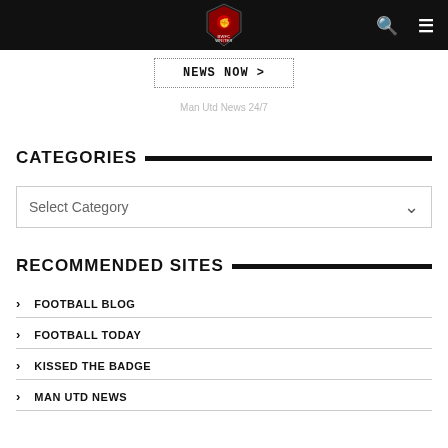BWFC Writer — nav bar with logo, search, and menu
[Figure (logo): BWFC Writer shield logo in red/dark on black nav bar]
NEWS NOW >
Man Utd News 24/7
CATEGORIES
Select Category
RECOMMENDED SITES
FOOTBALL BLOG
FOOTBALL TODAY
KISSED THE BADGE
MAN UTD NEWS